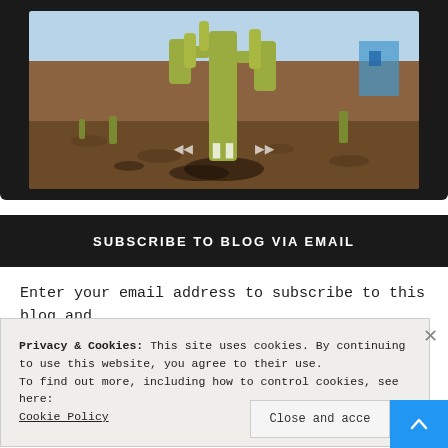[Figure (photo): A photo/video player showing a desert cactus garden scene with large cholla cacti and desert landscaping. A dark device frame surrounds the image with playback controls (back, pause, forward) visible.]
SUBSCRIBE TO BLOG VIA EMAIL
Enter your email address to subscribe to this blog and
Privacy & Cookies: This site uses cookies. By continuing to use this website, you agree to their use.
To find out more, including how to control cookies, see here:
Cookie Policy
Close and accept